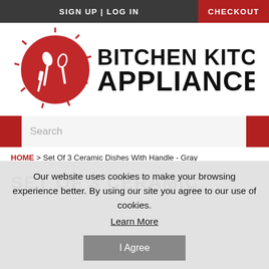SIGN UP | LOG IN   CHECKOUT
[Figure (logo): Bitchen Kitchen Appliances logo with red circular emblem showing kitchen utensils, next to bold text 'BITCHEN KITCHEN APPLIANCES']
Search
HOME > Set Of 3 Ceramic Dishes With Handle - Gray
SET OF 3 CERAMIC
Our website uses cookies to make your browsing experience better. By using our site you agree to our use of cookies.
Learn More
I Agree